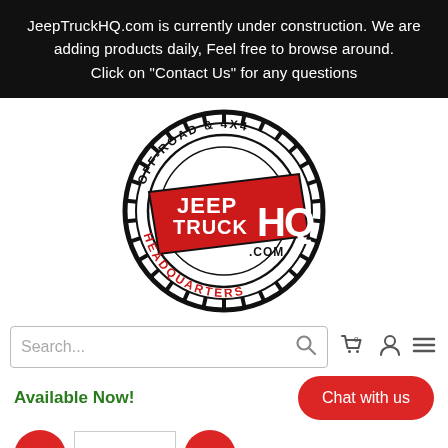JeepTruckHQ.com is currently under construction. We are adding products daily, Feel free to browse around. Click on "Contact Us" for any questions
[Figure (logo): JeepTruckHQ.com logo — circular gear/tire border with text OFF-ROAD & 4X4 at top and HEADQUARTERS at bottom in red, center shows JEEP TRUCK HQ in bold red and white on a red diagonal banner, with .COM below]
Search...
Available Now!
Chat with us
1